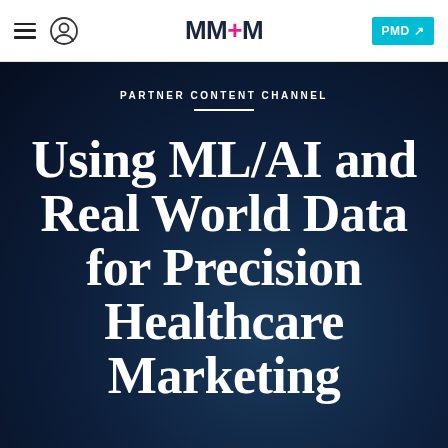MM+M | PMD
PARTNER CONTENT CHANNEL
Using ML/AI and Real World Data for Precision Healthcare Marketing